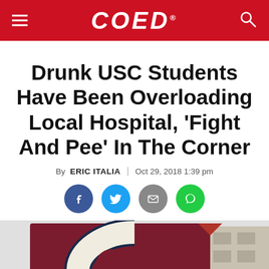COED
Drunk USC Students Have Been Overloading Local Hospital, 'Fight And Pee' In The Corner
By ERIC ITALIA | Oct 29, 2018 1:39 pm
[Figure (other): Social sharing icons: Facebook (blue circle), Twitter (light blue circle), Email (grey circle), Comment (green circle)]
[Figure (photo): Photo of a building with a large USC Gamecocks logo sign in maroon and navy, showing the stylized C with a gamecock inside, against a light grey sky with part of a building structure visible.]